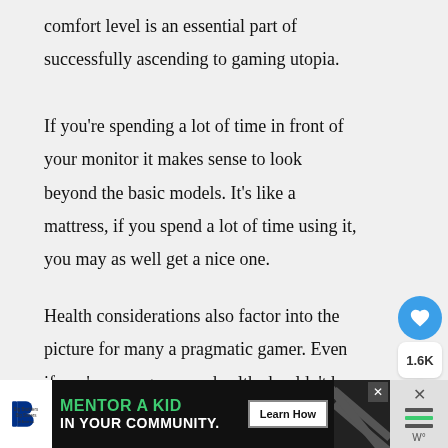comfort level is an essential part of successfully ascending to gaming utopia.
If you're spending a lot of time in front of your monitor it makes sense to look beyond the basic models. It's like a mattress, if you spend a lot of time using it, you may as well get a nice one.
Health considerations also factor into the picture for many a pragmatic gamer. Even if you're younger, your health shouldn't be an
[Figure (infographic): Social action buttons: heart/like button (blue circle), count showing 1.6K, share button (white circle with blue share icon)]
[Figure (infographic): Advertisement banner: Big Brothers Big Sisters logo, text MENTOR A KID IN YOUR COMMUNITY in green and white, Learn How button, diagonal stripe graphic, close buttons]